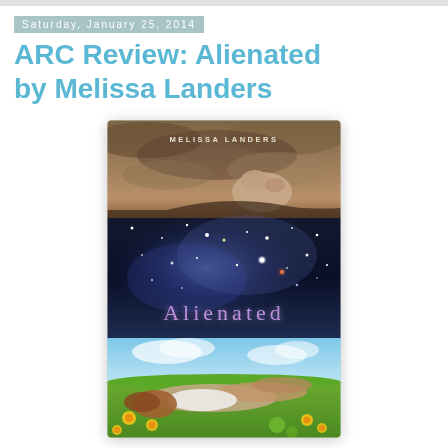Saturday, January 25, 2014
ARC Review: Alienated by Melissa Landers
[Figure (illustration): Book cover for 'Alienated' by Melissa Landers. The cover is divided into three visual sections: a cave/rock ceiling at the top (upside-down perspective), a dark starry nebula space scene in the middle with the title 'Alienated' in purple spaced-out lettering, and a sunny meadow at the bottom with a girl lying in the grass among yellow wildflowers. The author name 'MELISSA LANDERS' appears at the top in small spaced caps.]